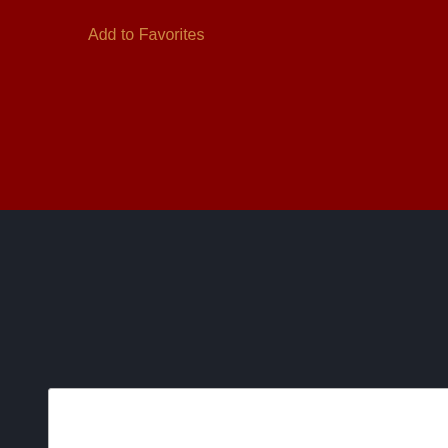Add to Favorites
Scat
Femdom Scat
BDSM
Bukkake
Dildo
Femdom
Fisting
Foot Fetish
GangBang
Gay Porn
Hardcore
[Figure (other): Two thumbnail image placeholders side by side in a rounded panel]
special shit specia